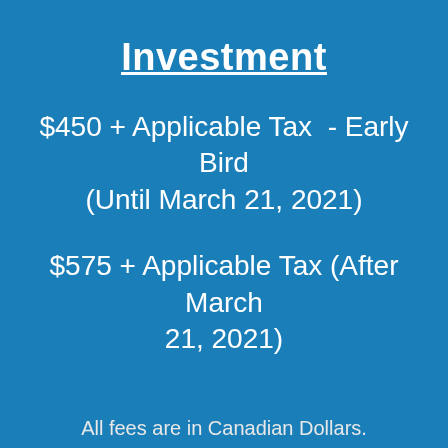Investment
$450 + Applicable Tax  - Early Bird (Until March 21, 2021)
$575 + Applicable Tax (After March 21, 2021)
All fees are in Canadian Dollars.